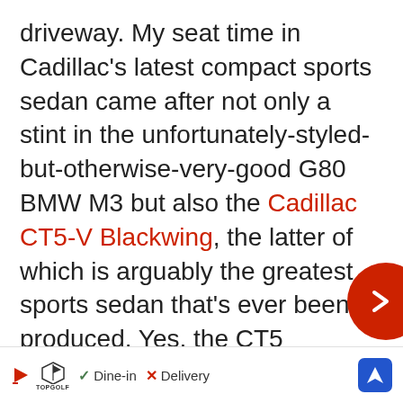driveway. My seat time in Cadillac's latest compact sports sedan came after not only a stint in the unfortunately-styled-but-otherwise-very-good G80 BMW M3 but also the Cadillac CT5-V Blackwing, the latter of which is arguably the greatest sports sedan that's ever been produced. Yes, the CT5 occupies a different space (and price point) in the market, but these two cars are so similarly styled, it's easy to mistake one for the other at a glance. Maybe it has to do with the fact that they're both built on a modified version of GM's Alpha architecture, a platform that also underpins the six...